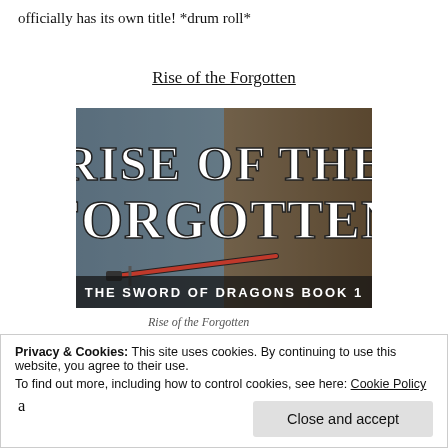officially has its own title!  *drum roll*
Rise of the Forgotten
[Figure (illustration): Book cover for 'Rise of the Forgotten' – The Sword of Dragons Book 1. Large white serif text on a dark fantasy background with a sword image.]
Rise of the Forgotten
It fits quite well, not just in a big way, but in many small ways :) Plus, giving book 1 a unique title has allowed me to keep a theme for the covers of all novels.  (And yes, I just showed you
Privacy & Cookies: This site uses cookies. By continuing to use this website, you agree to their use.
To find out more, including how to control cookies, see here: Cookie Policy
Close and accept